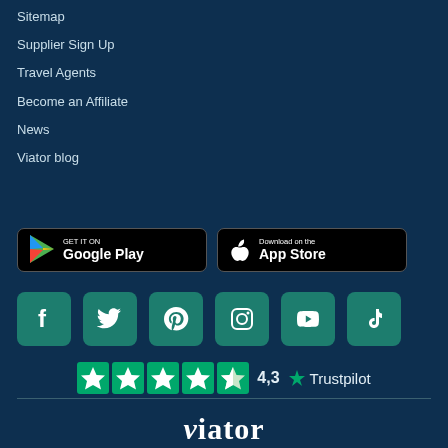Sitemap
Supplier Sign Up
Travel Agents
Become an Affiliate
News
Viator blog
[Figure (screenshot): Google Play and App Store download buttons]
[Figure (infographic): Social media icons: Facebook, Twitter, Pinterest, Instagram, YouTube, TikTok]
[Figure (other): Trustpilot rating: 4.3 stars]
[Figure (logo): Viator logo]